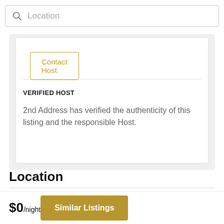Location
Contact Host
VERIFIED HOST
2nd Address has verified the authenticity of this listing and the responsible Host.
Location
$0/night
Similar Listings